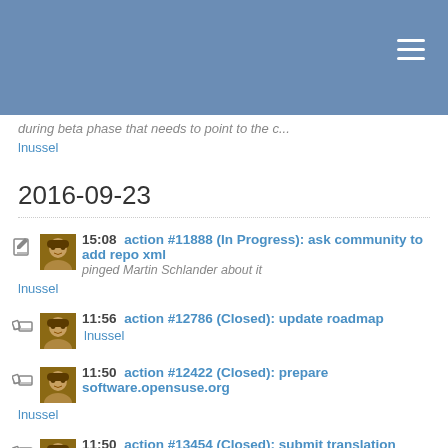during beta phase that needs to point to the c...
lnussel
2016-09-23
15:08 action #11888 (In Progress): ask community to add repo xml
pinged Martin Schlander about it
lnussel
11:56 action #12786 (Closed): update roadmap
lnussel
11:50 action #12422 (Closed): prepare software.opensuse.org
lnussel
11:50 action #13454 (Closed): submit translation packages
lnussel